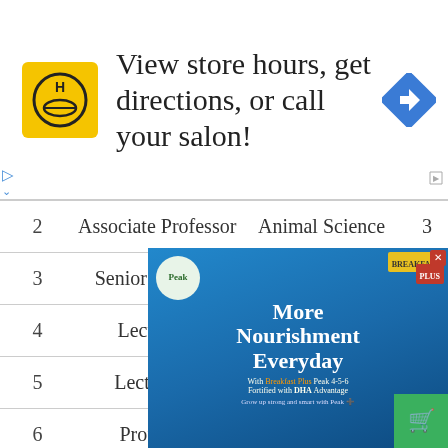[Figure (other): Advertisement banner: HC logo (yellow square with HC text), text 'View store hours, get directions, or call your salon!', blue diamond arrow icon]
| # | Position | Department | Col4 |
| --- | --- | --- | --- |
| 2 | Associate Professor | Animal Science | 3 |
| 3 | Senior Lecturer | Animal Science | 3 |
| 4 | Lecturer I | Animal Science | 3 |
| 5 | Lecturer II | Animal Science | 3 |
| 6 | Professor | Crop Science | 3 |
| 7 | Associate Professor | Crop Science | 3 |
| 8 | Senior Lecturer | Crop Science | 3 |
| 9 |  |  | 3 |
| 10 |  |  | 3 |
[Figure (other): Advertisement overlay: Peak Breakfast Plus product ad with text 'More Nourishment Everyday' on blue background, with product images and DHA Advantage text]